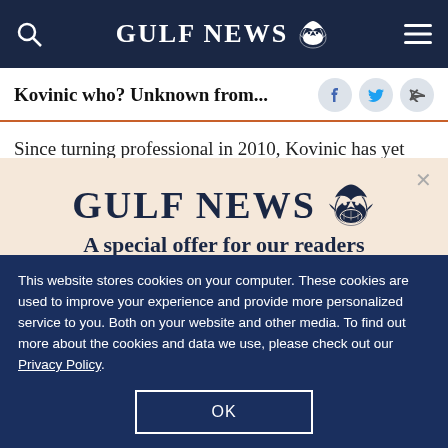GULF NEWS
Kovinic who? Unknown from...
Since turning professional in 2010, Kovinic has yet
[Figure (screenshot): Gulf News subscription modal overlay with logo, tagline 'A special offer for our readers', and offer text 'Get the two years All-Access subscription now']
This website stores cookies on your computer. These cookies are used to improve your experience and provide more personalized service to you. Both on your website and other media. To find out more about the cookies and data we use, please check out our Privacy Policy.